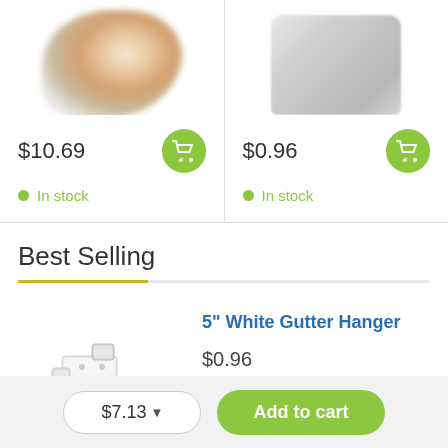[Figure (photo): Product image (blurred garlic or similar item) cropped at top]
$10.69
[Figure (illustration): Green circular add-to-cart button with shopping cart icon]
In stock
[Figure (photo): Product image (gutter hanger, cropped at top)]
$0.96
[Figure (illustration): Green circular add-to-cart button with shopping cart icon]
In stock
Best Selling
[Figure (photo): 5 inch White Gutter Hanger product image, white gutter bracket on gray background]
5" White Gutter Hanger
$0.96
$7.13
Add to cart